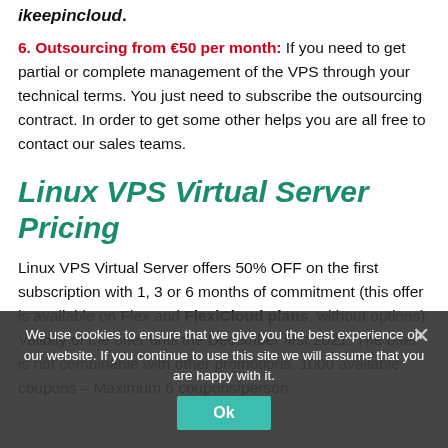ikeepincloud.
6. Outsourcing from €50 per month: If you need to get partial or complete management of the VPS through your technical terms. You just need to subscribe the outsourcing contract. In order to get some other helps you are all free to contact our sales teams.
Linux VPS Virtual Server Pricing
Linux VPS Virtual Server offers 50% OFF on the first subscription with 1, 3 or 6 months of commitment (this offer is available on Flex and FlexiCloud plans, without options). Validity of the offer until the December first 2021. The offer is not combinable with other promotions. 1000 available coupons – Maximum 6 coupons/person.
We use cookies to ensure that we give you the best experience on our website. If you continue to use this site we will assume that you are happy with it.